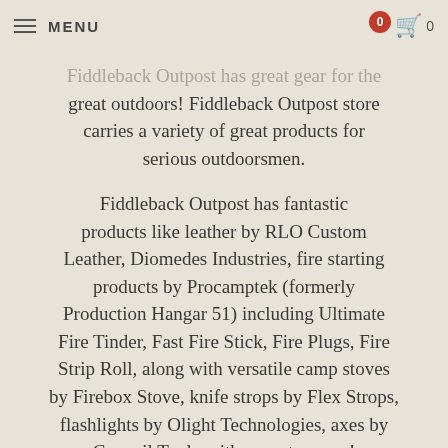MENU  0
Fiddleback Outpost has great gear for the great outdoors! Fiddleback Outpost store carries a variety of great products for serious outdoorsmen.
Fiddleback Outpost has fantastic products like leather by RLO Custom Leather, Diomedes Industries, fire starting products by Procamptek (formerly Production Hangar 51) including Ultimate Fire Tinder, Fast Fire Stick, Fire Plugs, Fire Strip Roll, along with versatile camp stoves by Firebox Stove, knife strops by Flex Strops, flashlights by Olight Technologies, axes by Council Tool...with more to come!
We are the exclusive reseller for a variety of leather sheaths from Diomedes Industries,